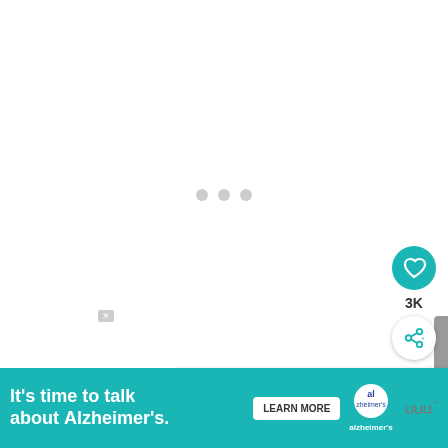[Figure (screenshot): Loading state with three gray dots centered on white background, social action buttons (heart/like with 3K count, share), What's Next panel showing '$100 Back To School Targ...' and an Alzheimer's Association advertisement banner at the bottom reading 'It's time to talk about Alzheimer's.']
3K
WHAT'S NEXT → $100 Back To School Targ...
It's time to talk about Alzheimer's.
LEARN MORE